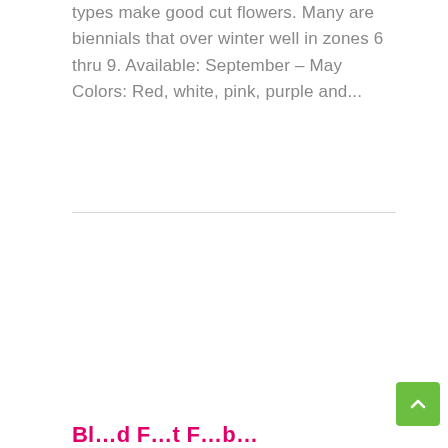types make good cut flowers. Many are biennials that over winter well in zones 6 thru 9. Available: September – May Colors: Red, white, pink, purple and...
Bl... d F... t F... b...